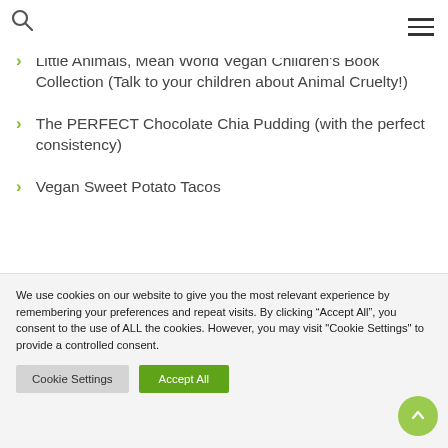Little Animals, Mean World Vegan Children's Book Collection (Talk to your children about Animal Cruelty!)
The PERFECT Chocolate Chia Pudding (with the perfect consistency)
Vegan Sweet Potato Tacos
We use cookies on our website to give you the most relevant experience by remembering your preferences and repeat visits. By clicking “Accept All”, you consent to the use of ALL the cookies. However, you may visit "Cookie Settings" to provide a controlled consent.